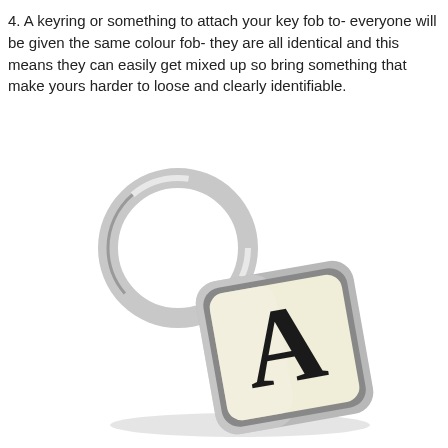4. A keyring or something to attach your key fob to- everyone will be given the same colour fob- they are all identical and this means they can easily get mixed up so bring something that make yours harder to loose and clearly identifiable.
[Figure (photo): A metal keyring with a chrome ring attached to a rectangular chrome-bordered fob with a cream/off-white face displaying the letter A in large bold black serif font.]